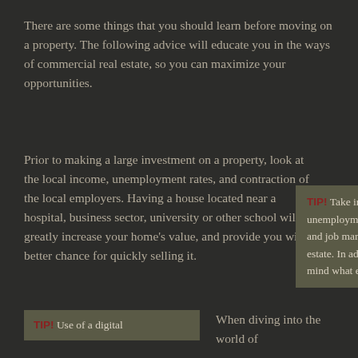There are some things that you should learn before moving on a property. The following advice will educate you in the ways of commercial real estate, so you can maximize your opportunities.
Prior to making a large investment on a property, look at the local income, unemployment rates, and contraction of the local employers. Having a house located near a hospital, business sector, university or other school will greatly increase your home's value, and provide you with a better chance for quickly selling it.
TIP! Take into consideration the local unemployment levels, average income, and job market before investing in real estate. In addition, you want to keep in mind what else is close to the property.
TIP! Use of a digital
When diving into the world of